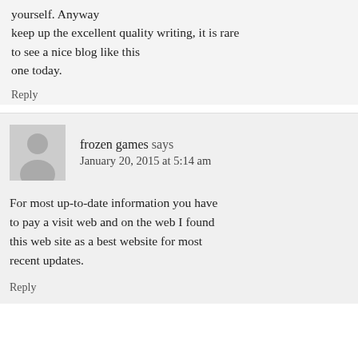yourself. Anyway keep up the excellent quality writing, it is rare to see a nice blog like this one today.
Reply
frozen games says
January 20, 2015 at 5:14 am
For most up-to-date information you have to pay a visit web and on the web I found this web site as a best website for most recent updates.
Reply